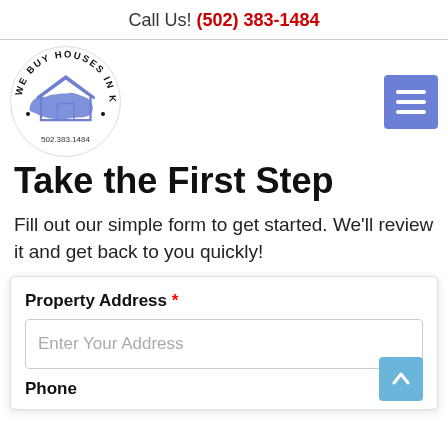Call Us! (502) 383-1484
[Figure (logo): We Buy Houses In Kentucky circular logo with blue Kentucky state silhouette and phone number 502.383.1484]
Take the First Step
Fill out our simple form to get started. We'll review it and get back to you quickly!
Property Address * — Enter Your Address input field. Phone label.